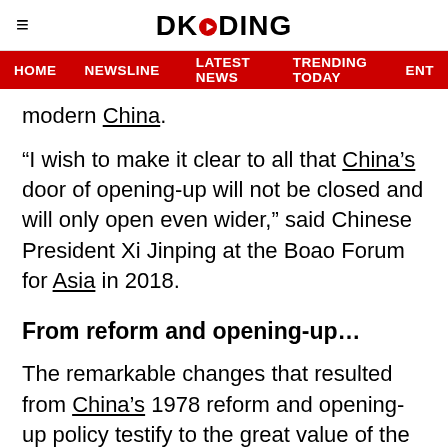DKODING
HOME   NEWSLINE   LATEST NEWS   TRENDING TODAY   ENT
modern China.
“I wish to make it clear to all that China’s door of opening-up will not be closed and will only open even wider,” said Chinese President Xi Jinping at the Boao Forum for Asia in 2018.
From reform and opening-up…
The remarkable changes that resulted from China’s 1978 reform and opening-up policy testify to the great value of the conviction that openness is the way to growth and wealth.